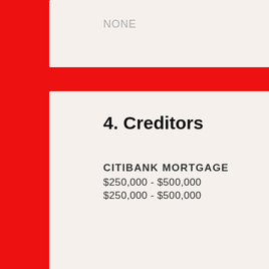NONE
4. Creditors
CITIBANK MORTGAGE
$250,000 - $500,000
$250,000 - $500,000
5. Officerships, Directorships, Trusteeships
NONE